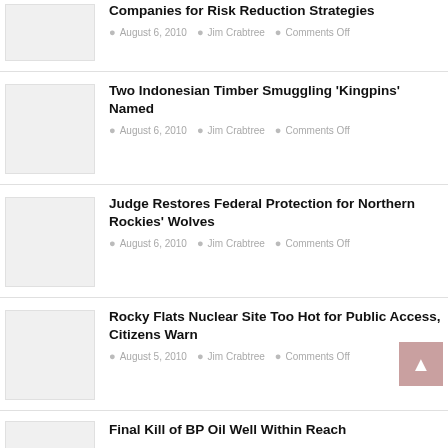Companies for Risk Reduction Strategies
August 6, 2010 · Jim Crabtree · Comments Off
Two Indonesian Timber Smuggling 'Kingpins' Named
August 6, 2010 · Jim Crabtree · Comments Off
Judge Restores Federal Protection for Northern Rockies' Wolves
August 6, 2010 · Jim Crabtree · Comments Off
Rocky Flats Nuclear Site Too Hot for Public Access, Citizens Warn
August 5, 2010 · Jim Crabtree · Comments Off
Final Kill of BP Oil Well Within Reach